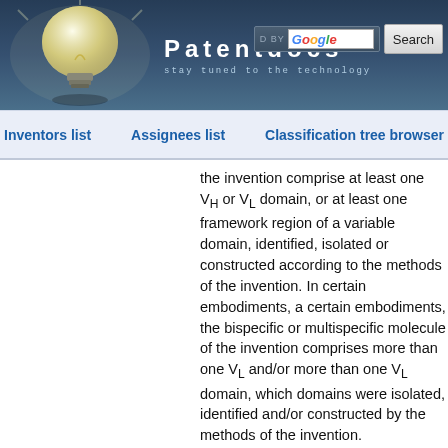[Figure (logo): Patentdocs website header with lightbulb logo, brand name 'Patentdocs', tagline 'stay tuned to the technology', and Google search box with Search button]
Inventors list   Assignees list   Classification tree browser
the invention comprise at least one V_H or V_L domain, or at least one framework region of a variable domain, identified, isolated or constructed according to the methods of the invention. In certain embodiments, a certain embodiments, the bispecific or multispecific molecule of the invention comprises more than one V_L and/or more than one V_L domain, which domains were isolated, identified and/or constructed by the methods of the invention. Immunospecific